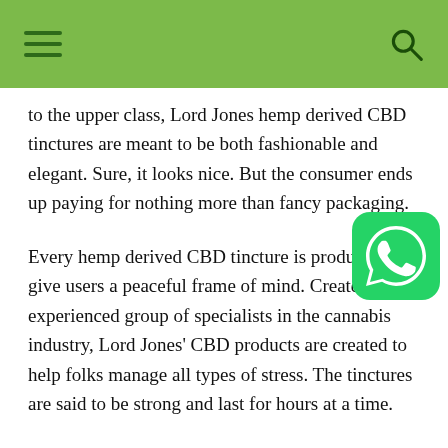[Navigation bar with hamburger menu and search icon]
to the upper class, Lord Jones hemp derived CBD tinctures are meant to be both fashionable and elegant. Sure, it looks nice. But the consumer ends up paying for nothing more than fancy packaging.
Every hemp derived CBD tincture is produced to give users a peaceful frame of mind. Created by an experienced group of specialists in the cannabis industry, Lord Jones' CBD products are created to help folks manage all types of stress. The tinctures are said to be strong and last for hours at a time.
What kind of flavors are available for Lord Jones hemp derived CBD tinctures? There are two options to choose from, Peppermint and Lemon. Peppermint's ingredients